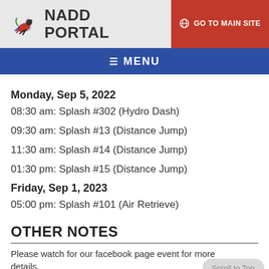NADD PORTAL | GO TO MAIN SITE
MENU
Monday, Sep 5, 2022
08:30 am: Splash #302 (Hydro Dash)
09:30 am: Splash #13 (Distance Jump)
11:30 am: Splash #14 (Distance Jump)
01:30 pm: Splash #15 (Distance Jump)
Friday, Sep 1, 2023
05:00 pm: Splash #101 (Air Retrieve)
OTHER NOTES
Please watch for our facebook page event for more details.